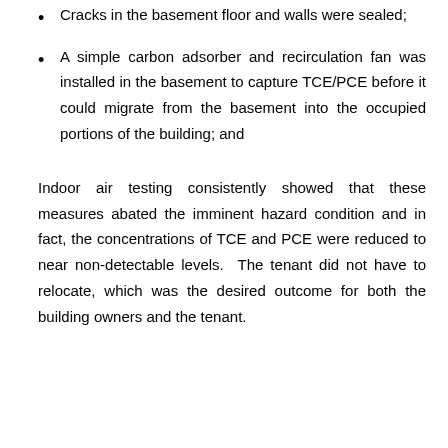Cracks in the basement floor and walls were sealed;
A simple carbon adsorber and recirculation fan was installed in the basement to capture TCE/PCE before it could migrate from the basement into the occupied portions of the building; and
Indoor air testing consistently showed that these measures abated the imminent hazard condition and in fact, the concentrations of TCE and PCE were reduced to near non-detectable levels.  The tenant did not have to relocate, which was the desired outcome for both the building owners and the tenant.